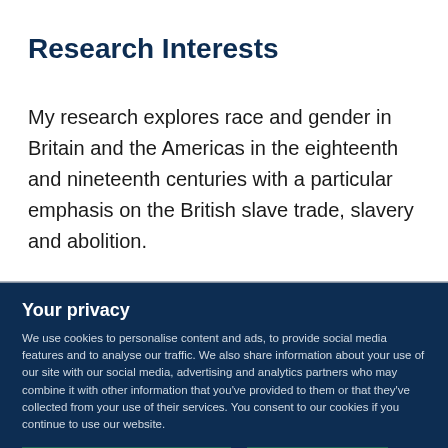Research Interests
My research explores race and gender in Britain and the Americas in the eighteenth and nineteenth centuries with a particular emphasis on the British slave trade, slavery and abolition.
Your privacy
We use cookies to personalise content and ads, to provide social media features and to analyse our traffic. We also share information about your use of our site with our social media, advertising and analytics partners who may combine it with other information that you've provided to them or that they've collected from your use of their services. You consent to our cookies if you continue to use our website.
Use necessary cookies only
Allow all cookies
Show details